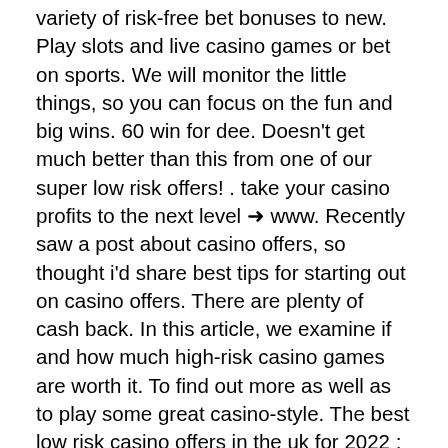variety of risk-free bet bonuses to new. Play slots and live casino games or bet on sports. We will monitor the little things, so you can focus on the fun and big wins. 60 win for dee. Doesn't get much better than this from one of our super low risk offers! . take your casino profits to the next level ➜ www. Recently saw a post about casino offers, so thought i'd share best tips for starting out on casino offers. There are plenty of cash back. In this article, we examine if and how much high-risk casino games are worth it. To find out more as well as to play some great casino-style. The best low risk casino offers in the uk for 2022 ; 1. Skyvegas, spend £10 &amp; get 200 spins + 50 spins ; 2. Buzz bingo casino, 110 spins deposit &amp; spend £20 ; 3. Looking for a list of low risk casino offers to use in 2022? -- view our top selections here and get paid any winnings in real cash. It offers a much more realistic upside than the lottery, slot machines, and